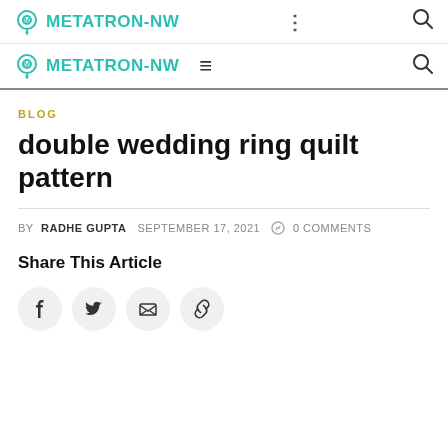METATRON-NW
METATRON-NW
BLOG
double wedding ring quilt pattern
BY RADHE GUPTA  SEPTEMBER 17, 2021  0 COMMENTS
Share This Article
[Figure (other): Social share buttons: Facebook, Twitter, Email, Link]